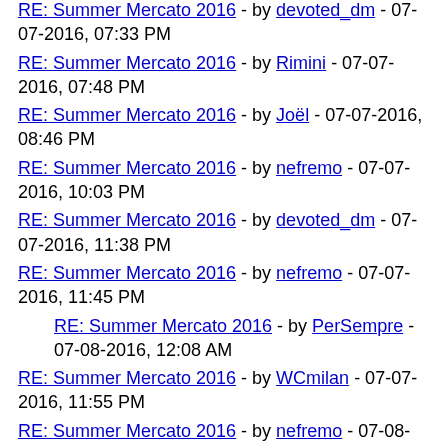RE: Summer Mercato 2016 - by devoted_dm - 07-07-2016, 07:33 PM
RE: Summer Mercato 2016 - by Rimini - 07-07-2016, 07:48 PM
RE: Summer Mercato 2016 - by Joël - 07-07-2016, 08:46 PM
RE: Summer Mercato 2016 - by nefremo - 07-07-2016, 10:03 PM
RE: Summer Mercato 2016 - by devoted_dm - 07-07-2016, 11:38 PM
RE: Summer Mercato 2016 - by nefremo - 07-07-2016, 11:45 PM
RE: Summer Mercato 2016 - by PerSempre - 07-08-2016, 12:08 AM
RE: Summer Mercato 2016 - by WCmilan - 07-07-2016, 11:55 PM
RE: Summer Mercato 2016 - by nefremo - 07-08-2016, 12:04 AM
RE: Summer Mercato 2016 - by WCmilan - 07-08-2016, 03:15 AM
RE: Summer Mercato 2016 - by Rimini - 07-08-2016, 12:18 AM
RE: Summer Mercato 2016 - by devoted_dm - 07-08-2016, 12:32 AM
RE: Summer Mercato 2016 - by reza - 07-08-2016, 03:01 AM